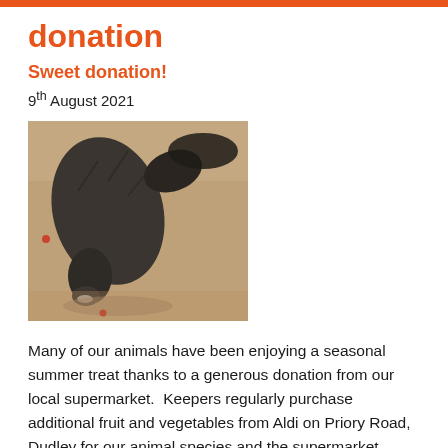donation
Sweet donation!
9th August 2021
[Figure (photo): A close-up photograph of a dark-furred animal (likely a peccary or similar small mammal) on a sandy/concrete surface, bending its head down toward the ground. Another dark animal is partially visible in the background.]
Many of our animals have been enjoying a seasonal summer treat thanks to a generous donation from our local supermarket.  Keepers regularly purchase additional fruit and vegetables from Aldi on Priory Road, Dudley for our animal species and the supermarket frequently donates surplus